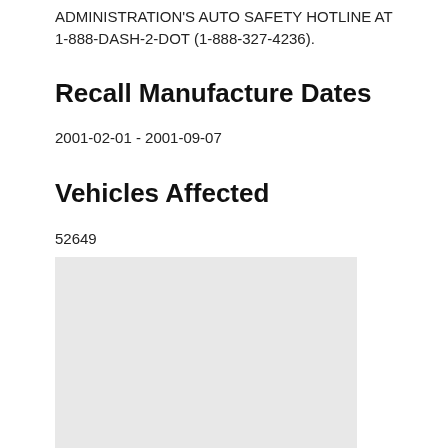ADMINISTRATION'S AUTO SAFETY HOTLINE AT 1-888-DASH-2-DOT (1-888-327-4236).
Recall Manufacture Dates
2001-02-01 - 2001-09-07
Vehicles Affected
52649
[Figure (other): Gray placeholder box]